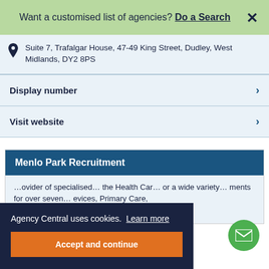Want a customised list of agencies? Do a Search
Suite 7, Trafalgar House, 47-49 King Street, Dudley, West Midlands, DY2 8PS
Display number
Visit website
Menlo Park Recruitment
...ovider of specialised... the Health Car... or a wide variety... ments for over seven... evices, Primary Care,
Agency Central uses cookies. Learn more
Accept and continue